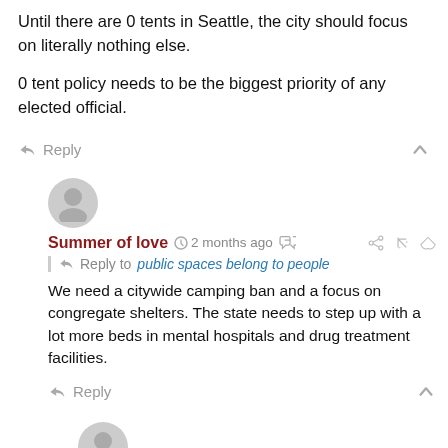Until there are 0 tents in Seattle, the city should focus on literally nothing else.
0 tent policy needs to be the biggest priority of any elected official.
Reply
[Figure (other): User avatar - grey silhouette icon]
Summer of love  2 months ago
Reply to public spaces belong to people
We need a citywide camping ban and a focus on congregate shelters. The state needs to step up with a lot more beds in mental hospitals and drug treatment facilities.
Reply
[Figure (other): User avatar - grey silhouette icon]
public spaces belong to people  2 months ago
Reply to Summer of love